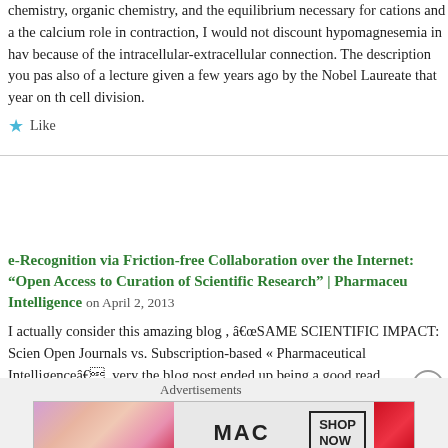chemistry, organic chemistry, and the equilibrium necessary for cations and a the calcium role in contraction, I would not discount hypomagnesemia in hav because of the intracellular-extracellular connection. The description you pas also of a lecture given a few years ago by the Nobel Laureate that year on th cell division.
Like
e-Recognition via Friction-free Collaboration over the Internet: “Open Access to Curation of Scientific Research” | Pharmaceut Intelligence on April 2, 2013
I actually consider this amazing blog , âSAME SCIENTIFIC IMPACT: Scien Open Journals vs. Subscription-based « Pharmaceutical Intelligenceâ, very the blog post ended up being a good read.
Many thanks,Annette
Like
Advertisements
[Figure (photo): MAC cosmetics advertisement showing lipsticks with SHOP NOW button]